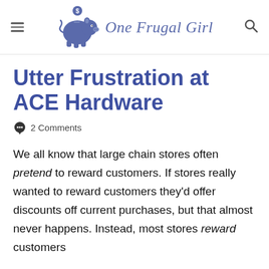One Frugal Girl
Utter Frustration at ACE Hardware
💬 2 Comments
We all know that large chain stores often pretend to reward customers. If stores really wanted to reward customers they'd offer discounts off current purchases, but that almost never happens. Instead, most stores reward customers